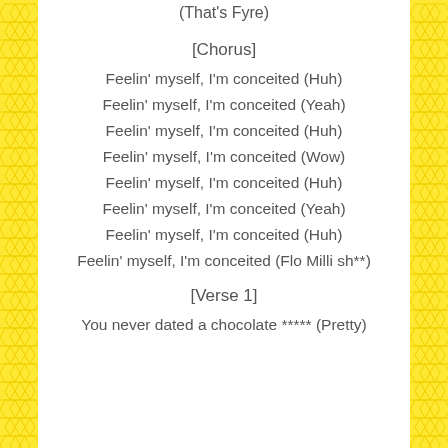(That's Fyre)
[Chorus]
Feelin' myself, I'm conceited (Huh)
Feelin' myself, I'm conceited (Yeah)
Feelin' myself, I'm conceited (Huh)
Feelin' myself, I'm conceited (Wow)
Feelin' myself, I'm conceited (Huh)
Feelin' myself, I'm conceited (Yeah)
Feelin' myself, I'm conceited (Huh)
Feelin' myself, I'm conceited (Flo Milli sh**)
[Verse 1]
You never dated a chocolate ***** (Pretty)